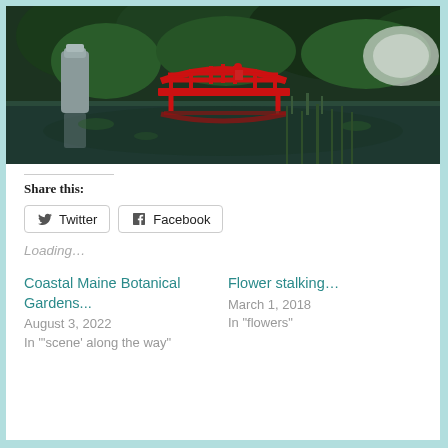[Figure (photo): A Japanese garden scene with a red arched bridge reflected in a still pond, with a tall stone or rock formation on the left, surrounded by lush green trees and foliage.]
Share this:
Twitter
Facebook
Loading...
Coastal Maine Botanical Gardens...
August 3, 2022
In "'scene' along the way"
Flower stalking...
March 1, 2018
In "flowers"